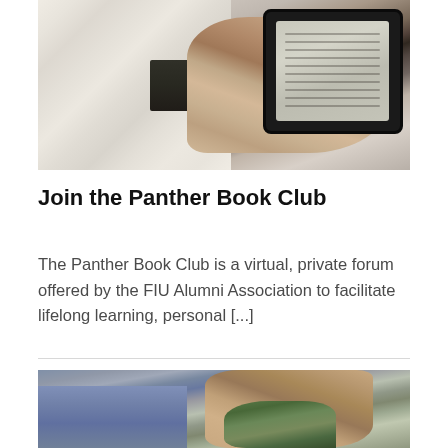[Figure (photo): Person in a white cable-knit sweater holding an e-reader/Kindle device, seated on a dark couch or chair]
Join the Panther Book Club
The Panther Book Club is a virtual, private forum offered by the FIU Alumni Association to facilitate lifelong learning, personal [...]
[Figure (photo): People working in a garden or outdoors, hands visible handling green plants or soil]